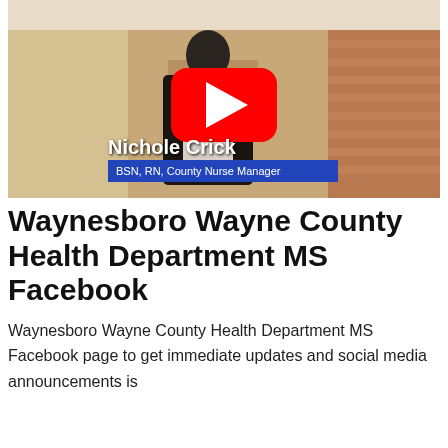[Figure (screenshot): YouTube video thumbnail showing a woman (Nichole Crick, BSN, RN, County Nurse Manager) standing in a hallway/clinic setting. A large red YouTube play button is overlaid in the center. At the bottom, her name 'Nichole Crick' appears in white text, and a blue banner reads 'BSN, RN, County Nurse Manager'.]
Waynesboro Wayne County Health Department MS Facebook
Waynesboro Wayne County Health Department MS Facebook page to get immediate updates and social media announcements is